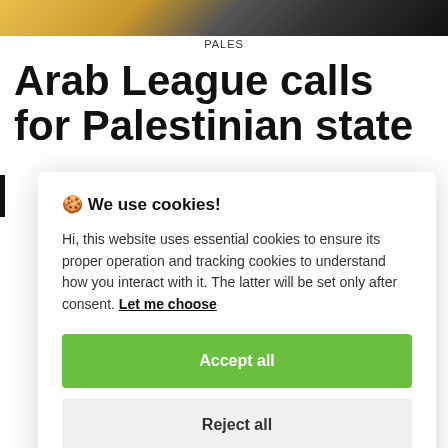[Figure (photo): Partial photo strip at top of page showing people in yellow and dark clothing]
PALES
Arab League calls for Palestinian state
🍪 We use cookies!
Hi, this website uses essential cookies to ensure its proper operation and tracking cookies to understand how you interact with it. The latter will be set only after consent. Let me choose
Accept all
Reject all